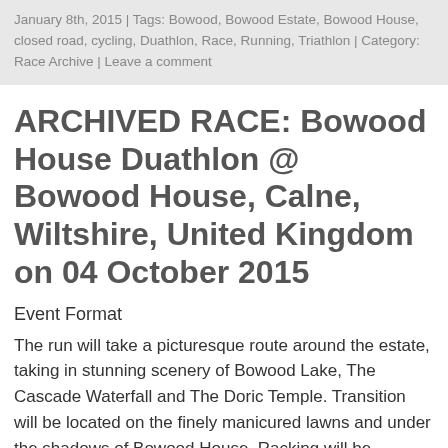January 8th, 2015 | Tags: Bowood, Bowood Estate, Bowood House, closed road, cycling, Duathlon, Race, Running, Triathlon | Category: Race Archive | Leave a comment
ARCHIVED RACE: Bowood House Duathlon @ Bowood House, Calne, Wiltshire, United Kingdom on 04 October 2015
Event Format
The run will take a picturesque route around the estate, taking in stunning scenery of Bowood Lake, The Cascade Waterfall and The Doric Temple. Transition will be located on the finely manicured lawns and under the shadows of Bowood House. Racking will be numbered according to waves. The